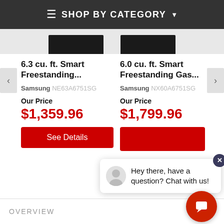SHOP BY CATEGORY
[Figure (screenshot): Two product thumbnail images of Samsung ranges at top of product listing]
6.3 cu. ft. Smart Freestanding...
Samsung NE63A6751SG
Our Price
$1,359.96
See Details
6.0 cu. ft. Smart Freestanding Gas...
Samsung NX60A6751SG
Our Price
$1,799.96
[Figure (screenshot): Chat widget popup with avatar and text: Hey there, have a question? Chat with us!]
Hey there, have a question? Chat with us!
OVERVIEW